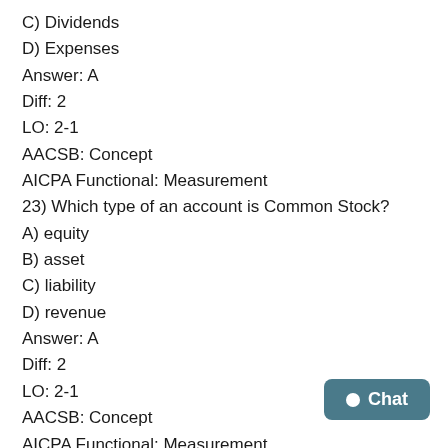C) Dividends
D) Expenses
Answer: A
Diff: 2
LO: 2-1
AACSB: Concept
AICPA Functional: Measurement
23) Which type of an account is Common Stock?
A) equity
B) asset
C) liability
D) revenue
Answer: A
Diff: 2
LO: 2-1
AACSB: Concept
AICPA Functional: Measurement